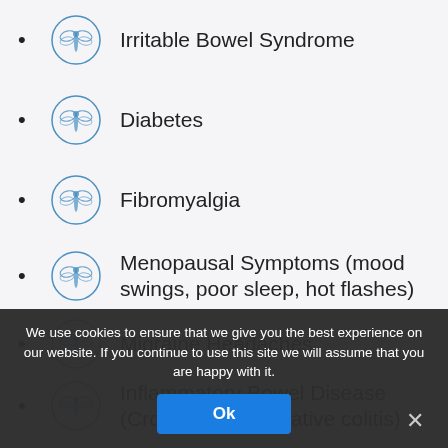Irritable Bowel Syndrome
Diabetes
Fibromyalgia
Menopausal Symptoms (mood swings, poor sleep, hot flashes)
Migraine Headaches
Inflammatory Bowel Disease (Crohn's and ulcerative colitis)
We use cookies to ensure that we give you the best experience on our website. If you continue to use this site we will assume that you are happy with it.